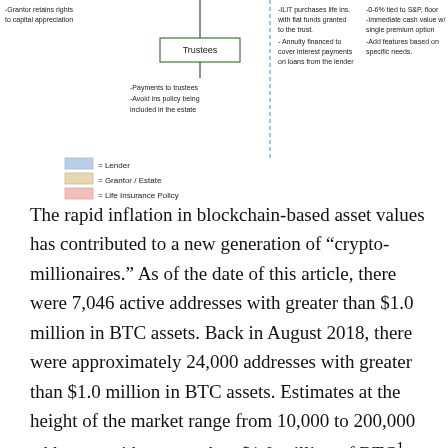[Figure (flowchart): Diagram showing ILIT trust structure with Trustees box at center top, annotations about grantor rights, payments to trustees, ILIT purchasing life insurance with fiat funds, annuity financing interest payments, 0-6% tied to S&P floor, immediate cash value with single premium option, and add features based on specific needs. Legend shows color codes for Lender (blue), Grantor/Estate (tan), and Life Insurance Policy (pink).]
The rapid inflation in blockchain-based asset values has contributed to a new generation of “crypto-millionaires.” As of the date of this article, there were 7,046 active addresses with greater than $1.0 million in BTC assets. Back in August 2018, there were approximately 24,000 addresses with greater than $1.0 million in BTC assets. Estimates at the height of the market range from 10,000 to 200,000 addresses with greater than $1.0 million of BTC¹. Assuming BTC values grow over the next 2 decades, I expect for this